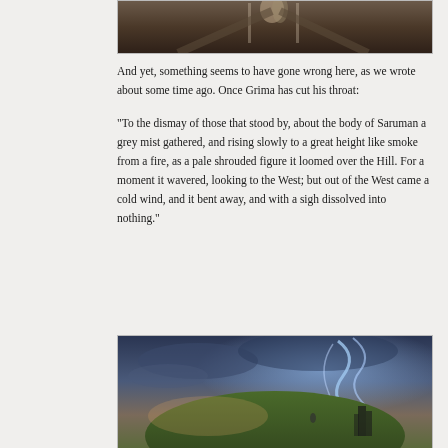[Figure (photo): Top portion of an image showing two figures on a path in a dimly lit landscape]
And yet, something seems to have gone wrong here, as we wrote about some time ago.  Once Grima has cut his throat:
“To the dismay of those that stood by, about the body of Saruman a grey mist gathered, and rising slowly to a great height like smoke from a fire, as a pale shrouded figure it loomed over the Hill.  For a moment it wavered, looking to the West; but out of the West came a cold wind, and it bent away, and with a sigh dissolved into nothing.”
[Figure (illustration): Fantasy illustration showing a misty swirling spirit figure rising above a green hill with ruins, against a dramatic twilight sky with clouds]